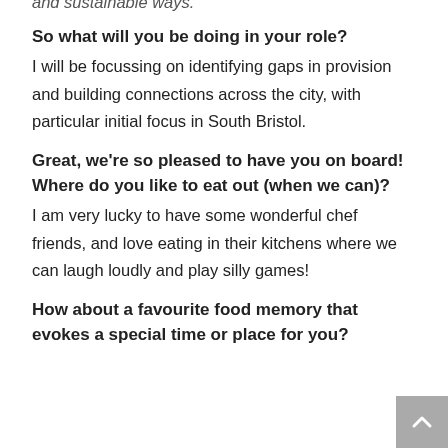and sustainable ways.
So what will you be doing in your role?
I will be focussing on identifying gaps in provision and building connections across the city, with particular initial focus in South Bristol.
Great, we're so pleased to have you on board! Where do you like to eat out (when we can)?
I am very lucky to have some wonderful chef friends, and love eating in their kitchens where we can laugh loudly and play silly games!
How about a favourite food memory that evokes a special time or place for you?